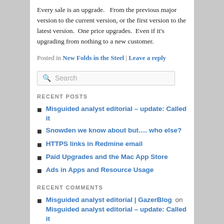Every sale is an upgrade.   From the previous major version to the current version, or the first version to the latest version.  One price upgrades.  Even if it's upgrading from nothing to a new customer.
Posted in New Folds in the Steel | Leave a reply
Search
RECENT POSTS
Misguided analyst editorial – update: Called it
Snowden we know about but…. who else?
HTTPS links in Redmine email
Paid Upgrades and the Mac App Store
Ads in Apps and Resource Usage
RECENT COMMENTS
Misguided analyst editorial | GazerBlog on Misguided analyst editorial – update: Called it